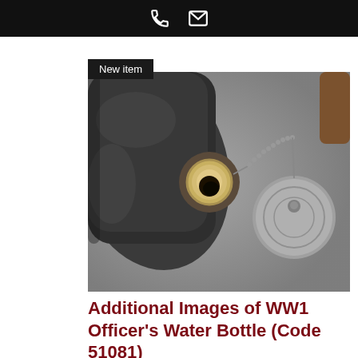New item
[Figure (photo): Close-up photograph of a WW1 Officer's Water Bottle showing the metal flask body with open neck/spout, a ball-chain, and a round metal screw cap resting on a grey fabric surface.]
Additional Images of WW1 Officer's Water Bottle (Code 51081)